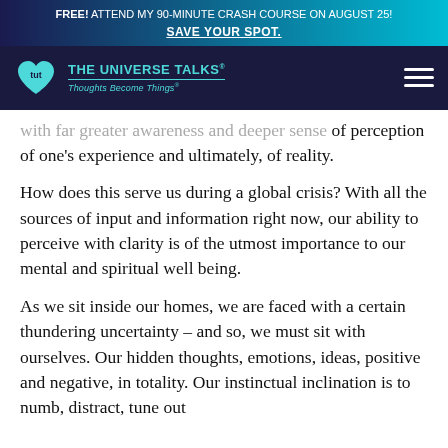FREE! ATTEND MY 90-MINUTE CRASH COURSE ON AUGUST 25! SAVE YOUR SPOT.
[Figure (logo): The Universe Talks logo with tut heart icon and tagline 'Thoughts Become Things']
...with far greater awareness and deeper sense of perception of one's experience and ultimately, of reality.
How does this serve us during a global crisis? With all the sources of input and information right now, our ability to perceive with clarity is of the utmost importance to our mental and spiritual well being.
As we sit inside our homes, we are faced with a certain thundering uncertainty – and so, we must sit with ourselves. Our hidden thoughts, emotions, ideas, positive and negative, in totality. Our instinctual inclination is to numb, distract, tune out